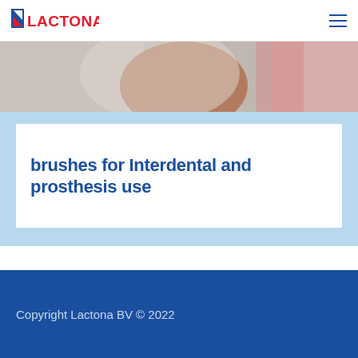LACTONA
[Figure (photo): Close-up photo of hands in white/lab coat with a pink element, blurred background]
brushes for Interdental and prosthesis use
[Figure (illustration): Blue Dutch clog (klompen) icon with 'Proudly made in Holland' text]
Copyright Lactona BV © 2022